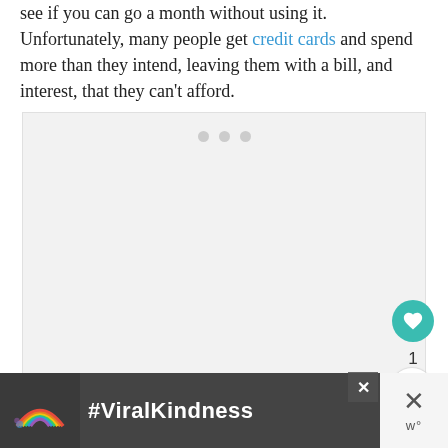see if you can go a month without using it. Unfortunately, many people get credit cards and spend more than they intend, leaving them with a bill, and interest, that they can't afford.
[Figure (other): Loading placeholder with three grey dots on light grey background]
[Figure (infographic): Advertisement banner with rainbow illustration and #ViralKindness hashtag text on dark background]